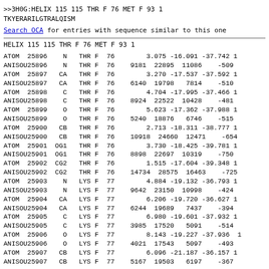>>3H0G:HELIX  115 115 THR F   76  MET F   93 1
TKYERARILGTRALQISM
Search OCA for entries with sequence similar to this one
HELIX  115 115 THR F   76   MET F   93 1
| ATOM  25896    N   THR F  76 | 3.075 -16.091 -37.742 1 |
| ANISOU25896    N   THR F  76 | 9181  22895  11086    -509 |
| ATOM  25897   CA   THR F  76 | 3.270 -17.537 -37.592 1 |
| ANISOU25897   CA   THR F  76 | 6140  19798   7814    -510 |
| ATOM  25898    C   THR F  76 | 4.704 -17.995 -37.466 1 |
| ANISOU25898    C   THR F  76 | 8924  22522  10428    -481 |
| ATOM  25899    O   THR F  76 | 5.623 -17.362 -37.988 1 |
| ANISOU25899    O   THR F  76 | 5240  18876   6746    -515 |
| ATOM  25900   CB   THR F  76 | 2.713 -18.311 -38.777 1 |
| ANISOU25900   CB   THR F  76 | 10918  24660  12471    -654 |
| ATOM  25901  OG1   THR F  76 | 3.730 -18.425 -39.781 1 |
| ANISOU25901  OG1   THR F  76 | 8898  22697  10319    -750 |
| ATOM  25902  CG2   THR F  76 | 1.515 -17.604 -39.348 1 |
| ANISOU25902  CG2   THR F  76 | 14734  28575  16463    -725 |
| ATOM  25903    N   LYS F  77 | 4.884 -19.132 -36.793 1 |
| ANISOU25903    N   LYS F  77 | 9642  23150  10998    -424 |
| ATOM  25904   CA   LYS F  77 | 6.206 -19.720 -36.627 1 |
| ANISOU25904   CA   LYS F  77 | 6244  19689   7437    -394 |
| ATOM  25905    C   LYS F  77 | 6.980 -19.601 -37.932 1 |
| ANISOU25905    C   LYS F  77 | 3985  17520   5091    -514 |
| ATOM  25906    O   LYS F  77 | 8.143 -19.227 -37.936  1 |
| ANISOU25906    O   LYS F  77 | 4021  17543   5097    -493 |
| ATOM  25907   CB   LYS F  77 | 6.096 -21.187 -36.157 1 |
| ANISOU25907   CB   LYS F  77 | 5167  19503   6197    -367 |